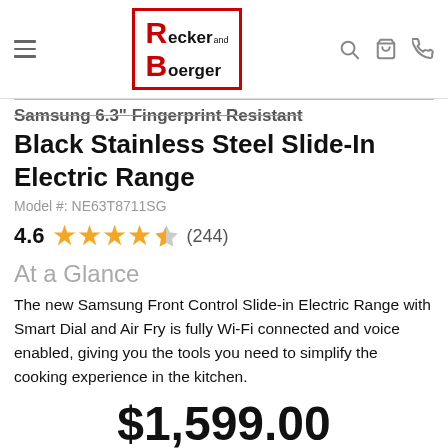Recker and Boerger — navigation bar with hamburger menu, logo, search, cart, phone icons
Samsung 6.3" Fingerprint Resistant Black Stainless Steel Slide-In Electric Range
Model #: NE63T8711SG
4.6 ★★★★½ (244)
At a Glance
The new Samsung Front Control Slide-in Electric Range with Smart Dial and Air Fry is fully Wi-Fi connected and voice enabled, giving you the tools you need to simplify the cooking experience in the kitchen.
$1,599.00
$2,069.10  Save $470.10